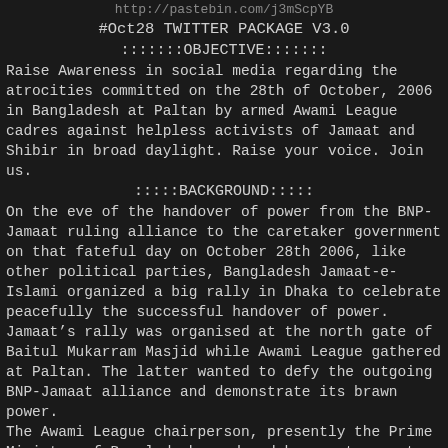http://pastebin.com/j3mScpYB
#Oct28 TWITTER PACKAGE V3.0
:::::::OBJECTIVE:::::::
Raise Awareness in social media regarding the atrocities committed on the 28th of October, 2006 in Bangladesh at Paltan by armed Awami League cadres against helpless activists of Jamaat and Shibir in broad daylight. Raise your voice. Join us.
:::::BACKGROUND:::::
On the eve of the handover of power from the BNP-Jamaat ruling alliance to the caretaker government on that fateful day on October 28th 2006, like other political parties, Bangladesh Jamaat-e-Islami organized a big rally in Dhaka to celebrate peacefully the successful handover of power. Jamaat’s rally was organised at the north gate of Baitul Mukarram Masjid while Awami League gathered at Paltan. The latter wanted to defy the outgoing BNP-Jamaat alliance and demonstrate its brawn power.
The Awami League chairperson, presently the Prime Minister of Bangladesh, ordered her party men to bring ‘logi-boitha’ (pole-oar) to their rally on that day. Her party men launched an attack with the logi-boitha on Jamaat activists who joined...